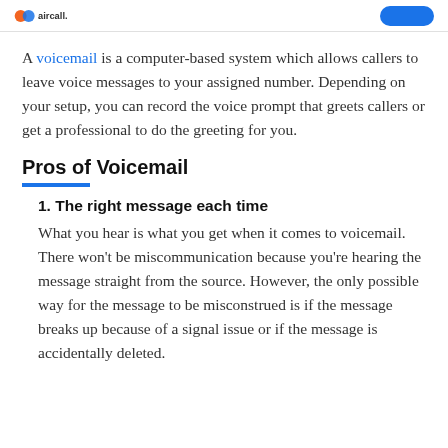Aircall logo and navigation button
A voicemail is a computer-based system which allows callers to leave voice messages to your assigned number. Depending on your setup, you can record the voice prompt that greets callers or get a professional to do the greeting for you.
Pros of Voicemail
1. The right message each time
What you hear is what you get when it comes to voicemail. There won't be miscommunication because you're hearing the message straight from the source. However, the only possible way for the message to be misconstrued is if the message breaks up because of a signal issue or if the message is accidentally deleted.